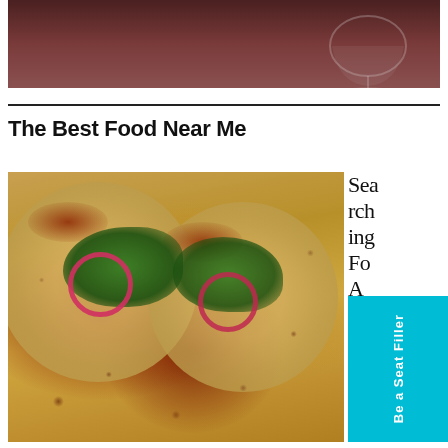[Figure (photo): Top portion of a restaurant interior photo showing a dim, moody atmosphere with a wine glass visible on the right side against a blurred background.]
The Best Food Near Me
[Figure (photo): Close-up photo of Mexican tacos on a plate, topped with red chorizo meat, pickled red onion rings, fresh cilantro/coriander leaves, with seasoning speckled throughout. Two tacos visible on what appears to be a grey ceramic plate.]
Searching Food A M x a R
[Figure (other): Cyan/turquoise vertical banner badge reading 'Be a Seat Filler']